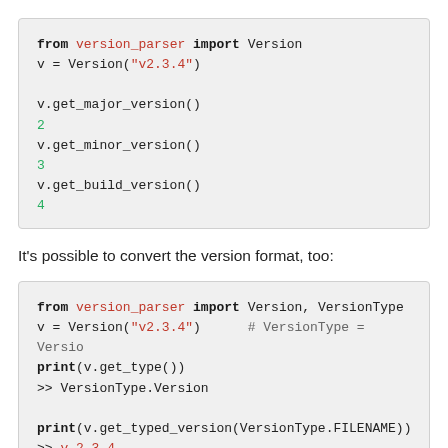[Figure (screenshot): Code block showing Python usage of version_parser: importing Version, creating v = Version('v2.3.4'), calling v.get_major_version() returning 2, v.get_minor_version() returning 3, v.get_build_version() returning 4.]
It's possible to convert the version format, too:
[Figure (screenshot): Code block showing Python usage: from version_parser import Version, VersionType; v = Version('v2.3.4')  # VersionType = Versio; print(v.get_type()); >> VersionType.Version; print(v.get_typed_version(VersionType.FILENAME)); >> v_2_3_4]